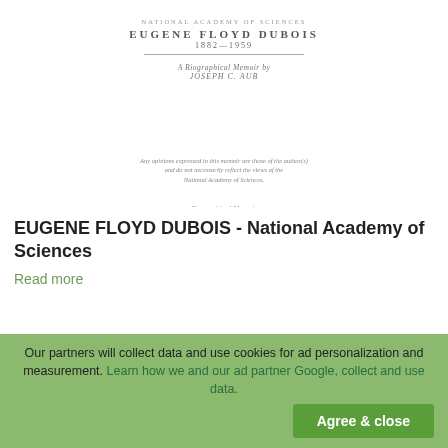NATIONAL ACADEMY OF SCIENCES
EUGENE FLOYD DUBOIS
1882—1959
A Biographical Memoir by
JOSEPH C. AUB
Any opinions expressed in this memoir are those of the author(s)
and do not necessarily reflect the views of the
National Academy of Sciences.
Biographical Memoir
Copyright 1962
national academy of sciences
washington d.c.
EUGENE FLOYD DUBOIS - National Academy of Sciences
Read more
Our partners will collect data and use cookies for ad personalization and measurement. Learn how we and our ad partner Google, collect and use data.
Agree & close